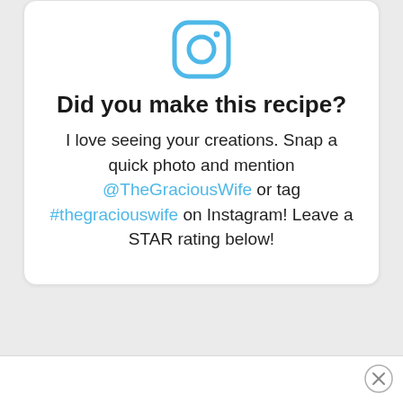[Figure (logo): Instagram camera icon in light blue outline style]
Did you make this recipe?
I love seeing your creations. Snap a quick photo and mention @TheGraciousWife or tag #thegraciouswife on Instagram! Leave a STAR rating below!